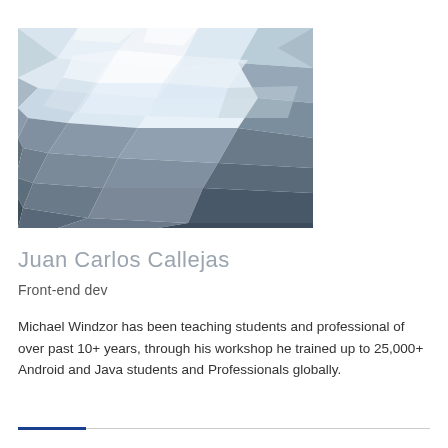[Figure (illustration): Abstract low-poly geometric mosaic image with blue, grey, and white polygonal shapes arranged in a landscape-like pattern]
Juan Carlos Callejas
Front-end dev
Michael Windzor has been teaching students and professional of over past 10+ years, through his workshop he trained up to 25,000+ Android and Java students and Professionals globally.